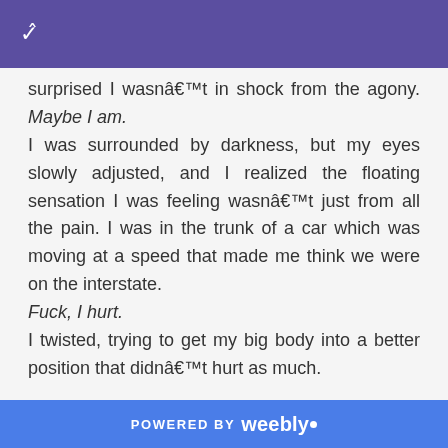surprised I wasnâ€™t in shock from the agony. Maybe I am.
I was surrounded by darkness, but my eyes slowly adjusted, and I realized the floating sensation I was feeling wasnâ€™t just from all the pain. I was in the trunk of a car which was moving at a speed that made me think we were on the interstate.
Fuck, I hurt.
I twisted, trying to get my big body into a better position that didnâ€™t hurt as much.
POWERED BY weebly